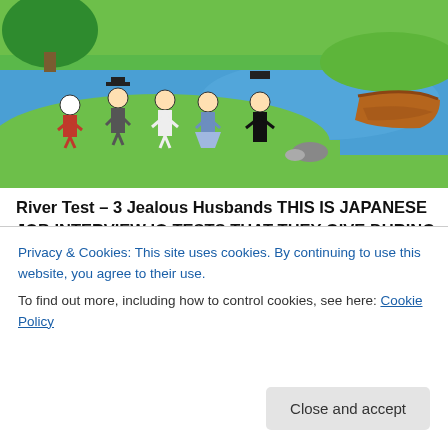[Figure (illustration): Cartoon game screenshot showing animated characters (people in traditional clothes) standing near a river with a wooden boat. Green grass and blue water background. Two dark rounded buttons labeled 'Solutions' and a music note icon in the bottom right of the image.]
River Test – 3 Jealous Husbands THIS IS JAPANESE JOB INTERVIEW IQ TESTS THAT THEY GIVE DURING JOB INTERVIEWS FOR SENIOR POSITIONS. ONLY 10% OF THE PEOPLE ON THE PLANET CAN PASS SOME OF THE TESTS! The River Tests is the collection of River Crossing puzzles for your iPhone and iPAD. It is believed that
River Test Solution g
Privacy & Cookies: This site uses cookies. By continuing to use this website, you agree to their use.
To find out more, including how to control cookies, see here: Cookie Policy
Close and accept